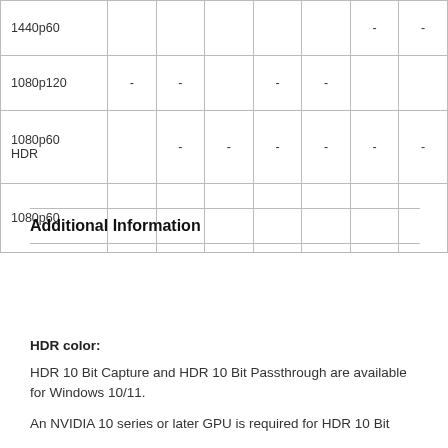| 1440p60 |  |  |  |  |  | - | - |
| 1080p120 | - | - |  | - | - |  |  |
| 1080p60
HDR |  | - | - | - | - | - | - |
| 1080p60 |  |  |  |  |  |  |  |
Additional Information
HDR color:
HDR 10 Bit Capture and HDR 10 Bit Passthrough are available for Windows 10/11.
An NVIDIA 10 series or later GPU is required for HDR 10 Bit